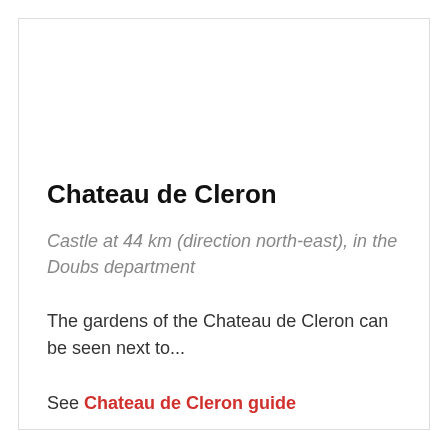Chateau de Cleron
Castle at 44 km (direction north-east), in the Doubs department
The gardens of the Chateau de Cleron can be seen next to...
See Chateau de Cleron guide